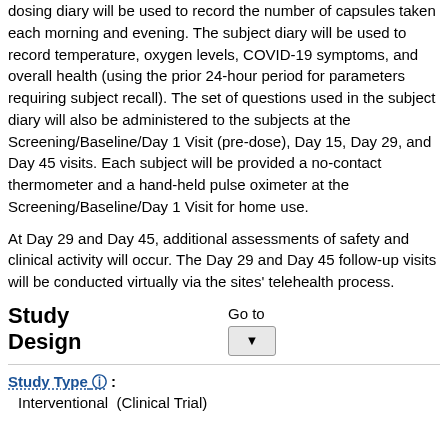dosing diary will be used to record the number of capsules taken each morning and evening. The subject diary will be used to record temperature, oxygen levels, COVID-19 symptoms, and overall health (using the prior 24-hour period for parameters requiring subject recall). The set of questions used in the subject diary will also be administered to the subjects at the Screening/Baseline/Day 1 Visit (pre-dose), Day 15, Day 29, and Day 45 visits. Each subject will be provided a no-contact thermometer and a hand-held pulse oximeter at the Screening/Baseline/Day 1 Visit for home use.
At Day 29 and Day 45, additional assessments of safety and clinical activity will occur. The Day 29 and Day 45 follow-up visits will be conducted virtually via the sites' telehealth process.
Study Design
Go to
Study Type ℹ :
Interventional  (Clinical Trial)